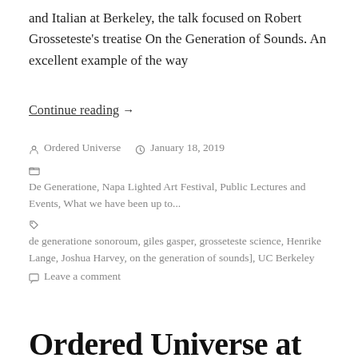and Italian at Berkeley, the talk focused on Robert Grosseteste's treatise On the Generation of Sounds. An excellent example of the way
Continue reading  →
Author: Ordered Universe   Date: January 18, 2019   Categories: De Generatione, Napa Lighted Art Festival, Public Lectures and Events, What we have been up to...   Tags: de generatione sonoroum, giles gasper, grosseteste science, Henrike Lange, Joshua Harvey, on the generation of sounds], UC Berkeley   Leave a comment
Ordered Universe at